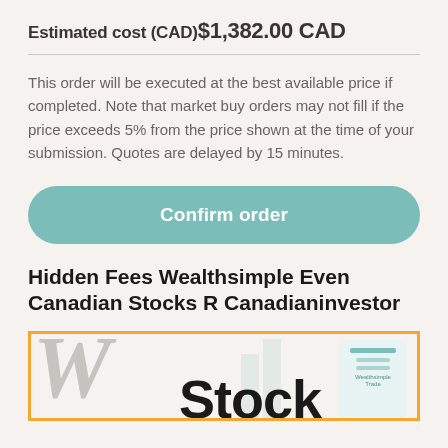Estimated cost (CAD) $1,382.00 CAD
This order will be executed at the best available price if completed. Note that market buy orders may not fill if the price exceeds 5% from the price shown at the time of your submission. Quotes are delayed by 15 minutes.
Confirm order
Hidden Fees Wealthsimple Even Canadian Stocks R Canadianinvestor
[Figure (screenshot): Partial screenshot showing a large stylized W letter in grey, the word 'Stock' in bold black text, and a teal mobile phone mockup on the right, all within an orange-bordered frame.]